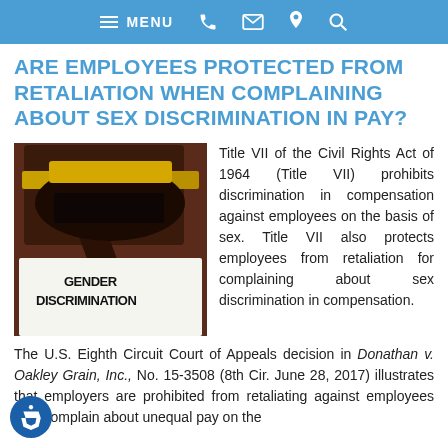MENU [navigation bar with phone, email, location, search icons]
ARE EMPLOYEES PROTECTED FROM RETALIATION WHEN COMPLAINING ABOUT SEX DISCRIMINATION IN PAY?
[Figure (photo): Photo of a judge's gavel on top of a document labeled 'GENDER DISCRIMINATION']
Title VII of the Civil Rights Act of 1964 (Title VII) prohibits discrimination in compensation against employees on the basis of sex. Title VII also protects employees from retaliation for complaining about sex discrimination in compensation. The U.S. Eighth Circuit Court of Appeals decision in Donathan v. Oakley Grain, Inc., No. 15-3508 (8th Cir. June 28, 2017) illustrates that employers are prohibited from retaliating against employees who complain about unequal pay on the